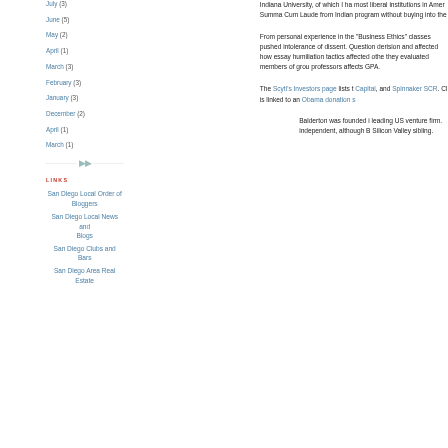July (3)
June (5)
May (2)
April (1)
March (3)
February (3)
January (3)
December (2)
April (1)
March (1)
LINKS
San Diego Local Order of Bloggers
San Diego Local News and Blogs
San Diego Clubs and Bars
San Diego Area Real Estate
Indiana University, of which I ha most liberal institutions in Amer Summa Cum Laude from Indian program without buying into the
From personal experience in the "Business Ethics" classes pushed intolerance of dissent. Question derision and affected how essay humiliation tactics affected othe they evaluated members of grou professors affects GPA.
The Scytl's Investors page lists t Capital, and Spinnaker SCR. Cl is linked to an Obama donation s
Balderton was founded i leading US venture firm. independent, although B Silicon Valley sibling.